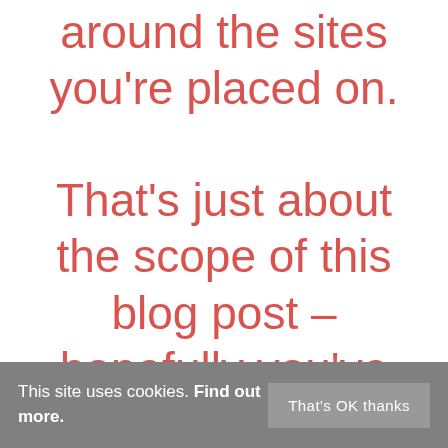around the sites you're placed on. That's just about the scope of this blog post – hopefully you've found it interesting, feel
This site uses cookies. Find out more.
That's OK thanks